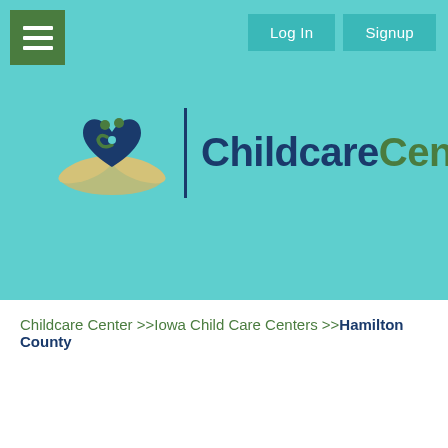[Figure (logo): ChildcareCenter.us logo with heart/family icon and divider bar]
Childcare Center >>Iowa Child Care Centers >>Hamilton County